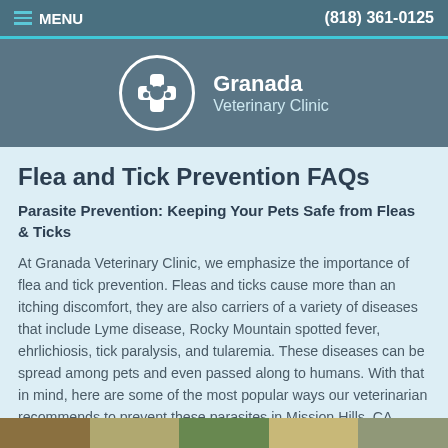MENU   (818) 361-0125
[Figure (logo): Granada Veterinary Clinic logo — white circle with paw/cross icon and clinic name text]
Flea and Tick Prevention FAQs
Parasite Prevention: Keeping Your Pets Safe from Fleas & Ticks
At Granada Veterinary Clinic, we emphasize the importance of flea and tick prevention. Fleas and ticks cause more than an itching discomfort, they are also carriers of a variety of diseases that include Lyme disease, Rocky Mountain spotted fever, ehrlichiosis, tick paralysis, and tularemia. These diseases can be spread among pets and even passed along to humans. With that in mind, here are some of the most popular ways our veterinarian recommends to prevent these parasites in Mission Hills, CA.
[Figure (photo): Bottom strip of small pet photos (partially visible)]